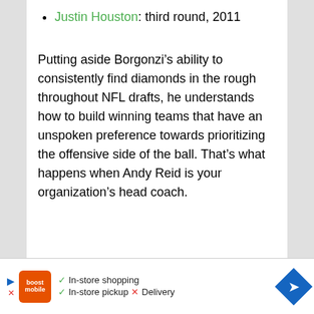Justin Houston: third round, 2011
Putting aside Borgonzi’s ability to consistently find diamonds in the rough throughout NFL drafts, he understands how to build winning teams that have an unspoken preference towards prioritizing the offensive side of the ball. That’s what happens when Andy Reid is your organization’s head coach.
[Figure (infographic): Advertisement banner showing Boost Mobile logo, checkmarks for In-store shopping and In-store pickup, a red X for Delivery, a blue play arrow, a red X close button, and a blue diamond navigation icon.]